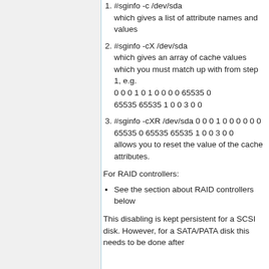1. #sginfo -c /dev/sda which gives a list of attribute names and values
2. #sginfo -cX /dev/sda which gives an array of cache values which you must match up with from step 1, e.g. 0 0 0 1 0 1 0 0 0 0 65535 0 65535 65535 1 0 0 3 0 0
3. #sginfo -cXR /dev/sda 0 0 0 1 0 0 0 0 0 0 65535 0 65535 65535 1 0 0 3 0 0 allows you to reset the value of the cache attributes.
For RAID controllers:
See the section about RAID controllers below
This disabling is kept persistent for a SCSI disk. However, for a SATA/PATA disk this needs to be done after